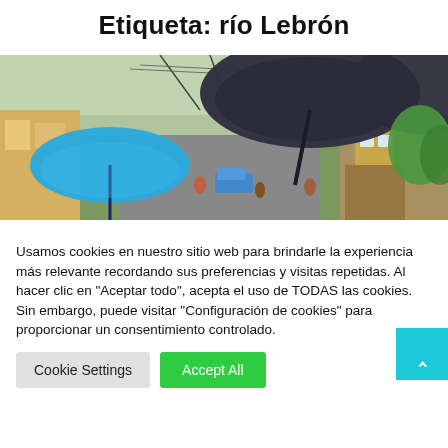Etiqueta: río Lebrón
[Figure (photo): Street scene with people holding umbrellas (blue and dark/black) in a rainy urban neighborhood. Buildings, power lines, cars visible in background.]
Usamos cookies en nuestro sitio web para brindarle la experiencia más relevante recordando sus preferencias y visitas repetidas. Al hacer clic en "Aceptar todo", acepta el uso de TODAS las cookies. Sin embargo, puede visitar "Configuración de cookies" para proporcionar un consentimiento controlado.
Cookie Settings
Accept All